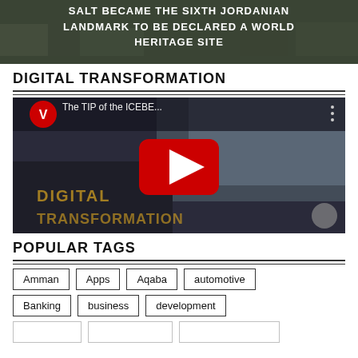[Figure (screenshot): Aerial or cityscape photo of a Middle Eastern city (Salt, Jordan) with bold white text overlay reading 'SALT BECAME THE SIXTH JORDANIAN LANDMARK TO BE DECLARED A WORLD HERITAGE SITE']
DIGITAL TRANSFORMATION
[Figure (screenshot): YouTube video thumbnail showing a video titled 'The TIP of the ICEBE...' with a red YouTube play button in the center. Background shows a man in an office setting with text 'DIGITAL TRANSFORMATION' overlaid. Velvet channel logo (red circle with white V) visible top left.]
POPULAR TAGS
Amman
Apps
Aqaba
automotive
Banking
business
development